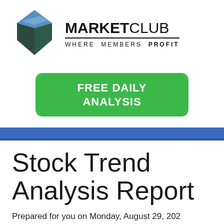[Figure (logo): MarketClub logo: geometric cube/diamond shape in dark teal and blue with a blue diamond top, next to the text MARKETCLUB WHERE MEMBERS PROFIT]
[Figure (other): Green rounded rectangle button with white bold text: FREE DAILY ANALYSIS]
Stock Trend Analysis Report
Prepared for you on Monday, August 29, 202
Pacer US Small Cap Cash Cows 100 ETF